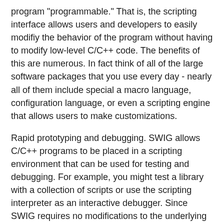program "programmable." That is, the scripting interface allows users and developers to easily modifiy the behavior of the program without having to modify low-level C/C++ code. The benefits of this are numerous. In fact think of all of the large software packages that you use every day - nearly all of them include special a macro language, configuration language, or even a scripting engine that allows users to make customizations.
Rapid prototyping and debugging. SWIG allows C/C++ programs to be placed in a scripting environment that can be used for testing and debugging. For example, you might test a library with a collection of scripts or use the scripting interpreter as an interactive debugger. Since SWIG requires no modifications to the underlying C/C++ code, it can be used even if the final product does not rely upon scripting.
Systems integration. Scripting languages work fairly well for controlling and gluing loosely-coupled software components together. With SWIG, different C/C++ programs can be turned into scripting language extension modules. These modules can then be combined together to create new and